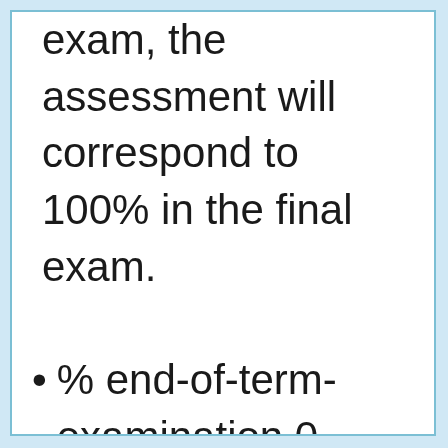exam, the assessment will correspond to 100% in the final exam.
% end-of-term-examination 0